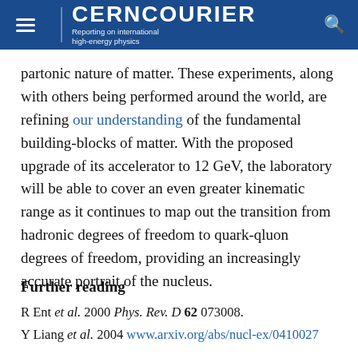CERNCOURIER — Reporting on international high-energy physics
partonic nature of matter. These experiments, along with others being performed around the world, are refining our understanding of the fundamental building-blocks of matter. With the proposed upgrade of its accelerator to 12 GeV, the laboratory will be able to cover an even greater kinematic range as it continues to map out the transition from hadronic degrees of freedom to quark-qluon degrees of freedom, providing an increasingly accurate portrait of the nucleus.
Further reading
R Ent et al. 2000 Phys. Rev. D 62 073008.
Y Liang et al. 2004 www.arxiv.org/abs/nucl-ex/0410027